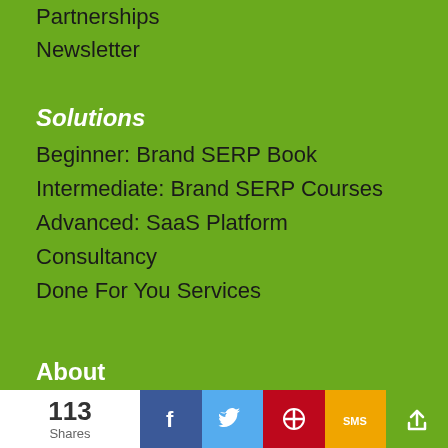Partnerships
Newsletter
Solutions
Beginner: Brand SERP Book
Intermediate: Brand SERP Courses
Advanced: SaaS Platform
Consultancy
Done For You Services
About
About Kalicube
Jason Barnard
113 Shares